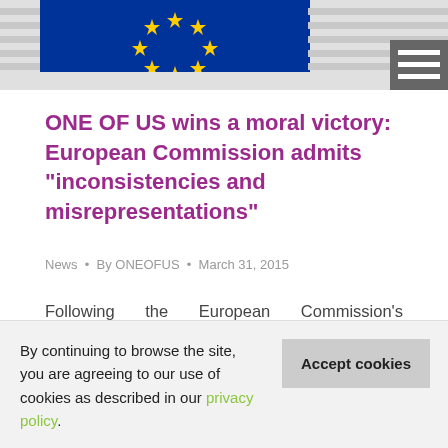[Figure (photo): EU flag and website header banner with gray horizontal lines on left and right, dark hamburger menu icon top right]
ONE OF US wins a moral victory: European Commission admits "inconsistencies and misrepresentations"
News • By ONEOFUS • March 31, 2015
Following the European Commission’s disappointing and un-founded refusal to provide an appropriate follow up on “ONE OF US”, the most successful European Citizens’ Initiative (ECI) so far, the organizers of the ECI have brought a formal action
By continuing to browse the site, you are agreeing to our use of cookies as described in our privacy policy.